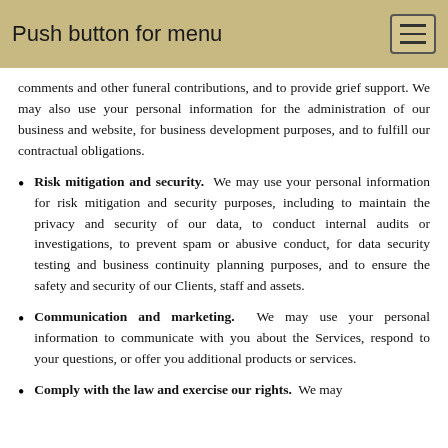Push button for menu
comments and other funeral contributions, and to provide grief support. We may also use your personal information for the administration of our business and website, for business development purposes, and to fulfill our contractual obligations.
Risk mitigation and security. We may use your personal information for risk mitigation and security purposes, including to maintain the privacy and security of our data, to conduct internal audits or investigations, to prevent spam or abusive conduct, for data security testing and business continuity planning purposes, and to ensure the safety and security of our Clients, staff and assets.
Communication and marketing. We may use your personal information to communicate with you about the Services, respond to your questions, or offer you additional products or services.
Comply with the law and exercise our rights. We may